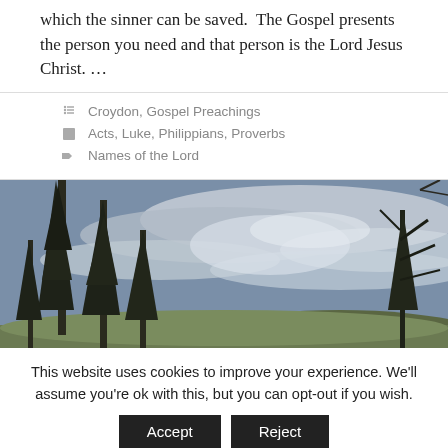which the sinner can be saved. The Gospel presents the person you need and that person is the Lord Jesus Christ. …
Croydon, Gospel Preachings
Acts, Luke, Philippians, Proverbs
Names of the Lord
[Figure (photo): Landscape photo showing tall dark conifer trees on the left against a dramatic cloudy sky, with hills and open land in the background.]
This website uses cookies to improve your experience. We'll assume you're ok with this, but you can opt-out if you wish.